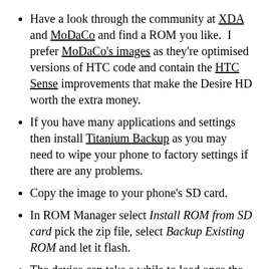Have a look through the community at XDA and MoDaCo and find a ROM you like.  I prefer MoDaCo's images as they're optimised versions of HTC code and contain the HTC Sense improvements that make the Desire HD worth the extra money.
If you have many applications and settings then install Titanium Backup as you may need to wipe your phone to factory settings if there are any problems.
Copy the image to your phone's SD card.
In ROM Manager select Install ROM from SD card pick the zip file, select Backup Existing ROM and let it flash.
The device can take a while to load once the new image has been installed, but if it's stuck on a loading screen for more than fifteen minutes then you will need to restore the backup you took in Clockwork Mod earlier, repeat these steps and